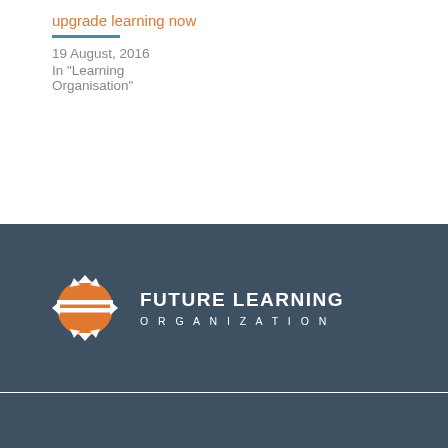upgrade learning now
19 August, 2016
In "Learning Organisation"
[Figure (logo): Future Learning Organization logo with orange globe/hedgehog icon and white text reading FUTURE LEARNING ORGANIZATION on a dark slate background]